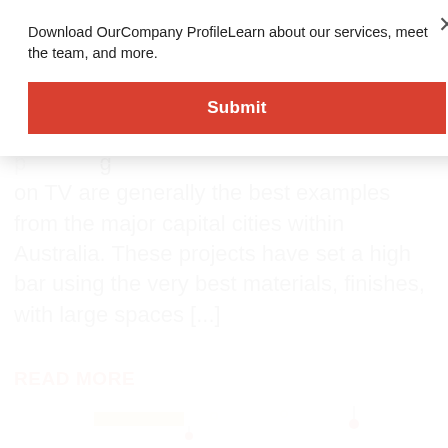Download OurCompany ProfileLearn about our services, meet the team, and more.
[Figure (other): Red Submit button]
p[...] g on TV are generally the best examples from the major capital cities within Australia. These projects have set a high bar using the very best materials, finishes, with large spaces [...]
READ MORE
[Figure (photo): Interior photo showing ceiling with recessed lighting and pendant lights above white cabinetry]